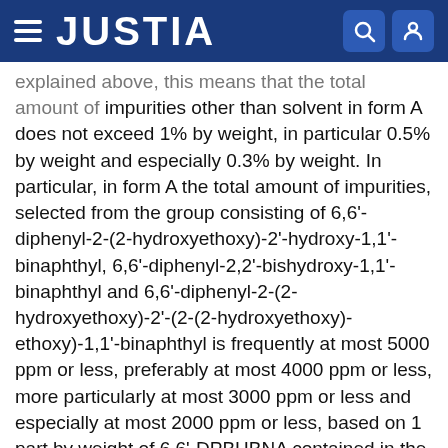JUSTIA
explained above, this means that the total amount of impurities other than solvent in form A does not exceed 1% by weight, in particular 0.5% by weight and especially 0.3% by weight. In particular, in form A the total amount of impurities, selected from the group consisting of 6,6'-diphenyl-2-(2-hydroxyethoxy)-2'-hydroxy-1,1'-binaphthyl, 6,6'-diphenyl-2,2'-bishydroxy-1,1'-binaphthyl and 6,6'-diphenyl-2-(2-hydroxyethoxy)-2'-(2-(2-hydroxyethoxy)-ethoxy)-1,1'-binaphthyl is frequently at most 5000 ppm or less, preferably at most 4000 ppm or less, more particularly at most 3000 ppm or less and especially at most 2000 ppm or less, based on 1 part by weight of 6,6'-DPBHBNA contained in the crystals of form A. In particular, the individual weight of each of the aforementioned impurities is preferably most 2000 ppm or less, in particular at most 1500 ppm or less and especially at most 1000 ppm, based on 1 part by weight